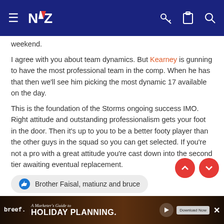NZ Warriors forum navigation bar
weekend.
I agree with you about team dynamics. But Kearney is gunning to have the most professional team in the comp. When he has that then we'll see him picking the most dynamic 17 available on the day.
This is the foundation of the Storms ongoing success IMO. Right attitude and outstanding professionalism gets your foot in the door. Then it's up to you to be a better footy player than the other guys in the squad so you can get selected. If you're not a pro with a great attitude you're cast down into the second tier awaiting eventual replacement.
Brother Faisal, matiunz and bruce
bunnyglory
[Figure (screenshot): Advertisement banner: breef. A Marketer's Guide to HOLIDAY PLANNING. Download Now button.]